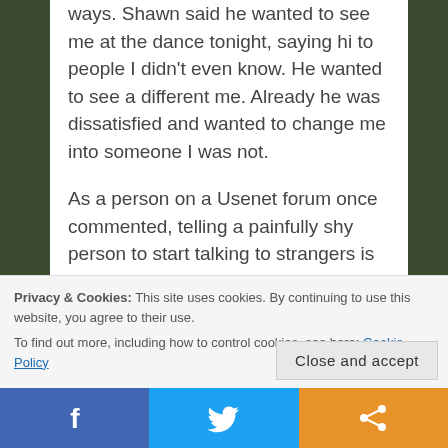ways.  Shawn said he wanted to see me at the dance tonight, saying hi to people I didn't even know.  He wanted to see a different me.  Already he was dissatisfied and wanted to change me into someone I was not.
As a person on a Usenet forum once commented, telling a painfully shy person to start talking to strangers is like asking her to sprout wings and fly.
What Shawn said made me uncomfortable, especially since I'd felt so outgoing and proud
Privacy & Cookies: This site uses cookies. By continuing to use this website, you agree to their use.
To find out more, including how to control cookies, see here: Cookie Policy